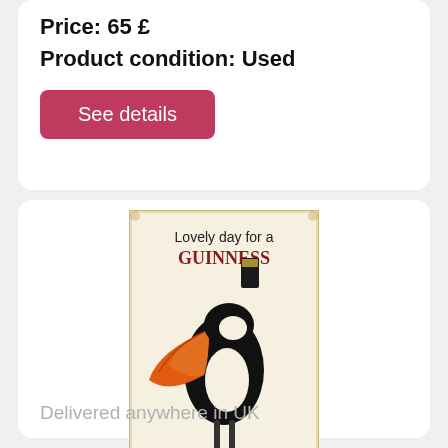Price: 65 £
Product condition: Used
See details
[Figure (photo): Vintage Guinness toucan metal sign — 'Lovely day for a GUINNESS' with a toucan bird balancing a pint of Guinness on its beak]
Novelty Vintage Ideal for Pub shed Bar Office Man
Delivered anywhere in UK